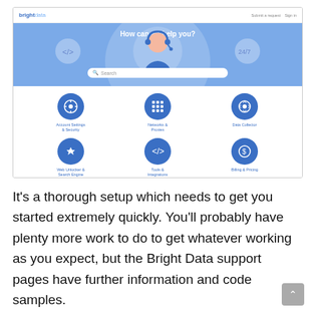[Figure (screenshot): Screenshot of Bright Data support page showing header with logo and nav links, a blue hero banner with 'How can we help you?' heading, a support agent illustration, a search bar, and a 2x3 grid of category icons (Account Settings & Security, Networks & Proxies, Data Collector, Web Unlocker & Search Engine Crawler, Tools & Integrations, Billing & Pricing)]
It's a thorough setup which needs to get you started extremely quickly. You'll probably have plenty more work to do to get whatever working as you expect, but the Bright Data support pages have further information and code samples.